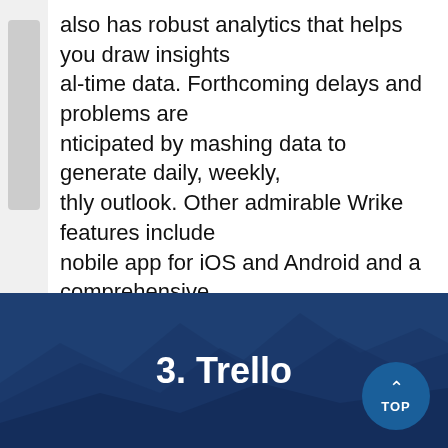also has robust analytics that helps you draw insights al-time data. Forthcoming delays and problems are nticipated by mashing data to generate daily, weekly, thly outlook. Other admirable Wrike features include nobile app for iOS and Android and a comprehensive tion platform.
> Detailed Wrike Review
READ MORE
3. Trello